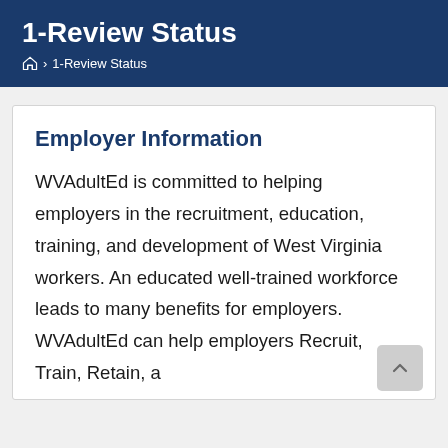1-Review Status
🏠 > 1-Review Status
Employer Information
WVAdultEd is committed to helping employers in the recruitment, education, training, and development of West Virginia workers. An educated well-trained workforce leads to many benefits for employers. WVAdultEd can help employers Recruit, Train, Retain, a